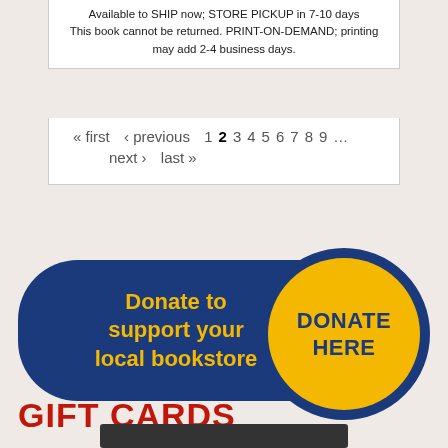Available to SHIP now; STORE PICKUP in 7-10 days
This book cannot be returned. PRINT-ON-DEMAND; printing may add 2-4 business days.
« first ‹ previous 1 2 3 4 5 6 7 8 9 ... next › last »
[Figure (infographic): Blue rounded rectangle button with yellow text 'Donate to support your local bookstore' on the left, and a yellow circle on the right with blue bold text 'DONATE HERE']
GIFT CARDS